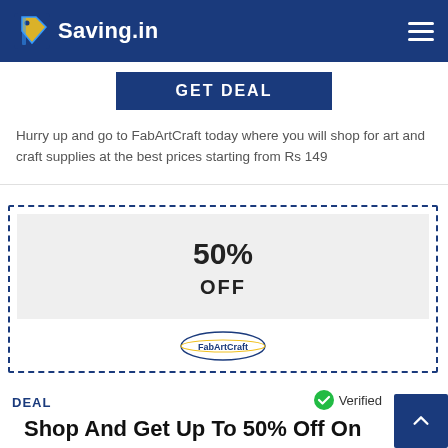[Figure (logo): Saving.in logo with shopping tag icon in blue and yellow on dark blue header bar with hamburger menu]
[Figure (screenshot): GET DEAL button in dark blue]
Hurry up and go to FabArtCraft today where you will shop for art and craft supplies at the best prices starting from Rs 149
[Figure (infographic): Coupon card with dashed border showing 50% OFF and FabArtCraft logo]
DEAL
Verified
Shop And Get Up To 50% Off On Selected